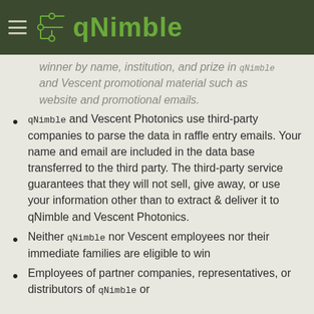qNimble
winner by name, institution, and prize in qNimble and Vescent promotional material such as website and promotional emails.
qNimble and Vescent Photonics use third-party companies to parse the data in raffle entry emails. Your name and email are included in the data base transferred to the third party. The third-party service guarantees that they will not sell, give away, or use your information other than to extract & deliver it to qNimble and Vescent Photonics.
Neither qNimble nor Vescent employees nor their immediate families are eligible to win
Employees of partner companies, representatives, or distributors of qNimble or